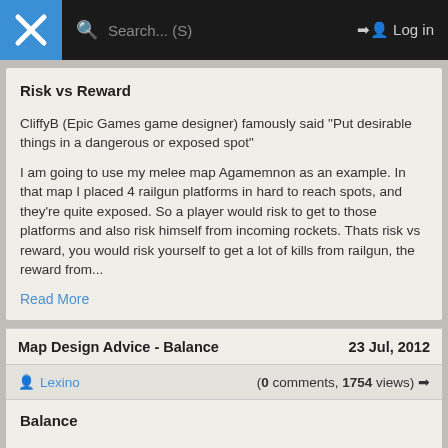Search... (S)  Log in
Risk vs Reward
CliffyB (Epic Games game designer) famously said "Put desirable things in a dangerous or exposed spot"
I am going to use my melee map Agamemnon as an example. In that map I placed 4 railgun platforms in hard to reach spots, and they're quite exposed. So a player would risk to get to those platforms and also risk himself from incoming rockets. Thats risk vs reward, you would risk yourself to get a lot of kills from railgun, the reward from...
Read More
Map Design Advice - Balance
23 Jul, 2012
Lexino
(0 comments, 1754 views)
Balance
This is most important of all things I listed in the introduction in my opinion, so I'm posting this first.